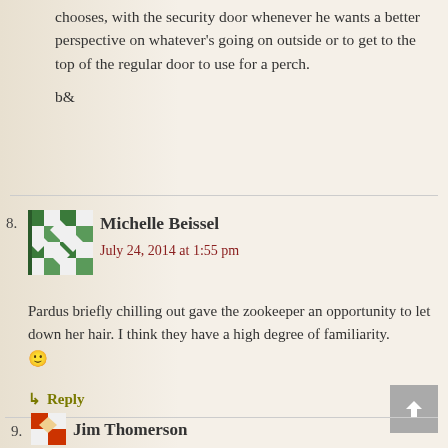chooses, with the security door whenever he wants a better perspective on whatever's going on outside or to get to the top of the regular door to use for a perch.

b&
Michelle Beissel
July 24, 2014 at 1:55 pm
Pardus briefly chilling out gave the zookeeper an opportunity to let down her hair. I think they have a high degree of familiarity. 🙂
↳ Reply
Jim Thomerson